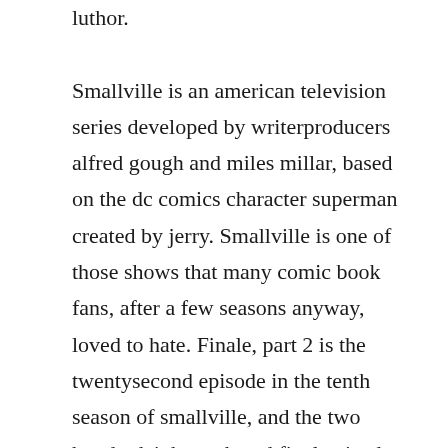luthor.

Smallville is an american television series developed by writerproducers alfred gough and miles millar, based on the dc comics character superman created by jerry. Smallville is one of those shows that many comic book fans, after a few seasons anyway, loved to hate. Finale, part 2 is the twentysecond episode in the tenth season of smallville, and the two hundredeighteenth and final episode. Comic books discussion, podcasts and community red hair pictures,